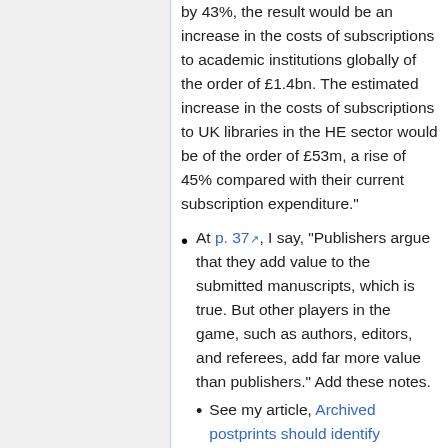by 43%, the result would be an increase in the costs of subscriptions to academic institutions globally of the order of £1.4bn. The estimated increase in the costs of subscriptions to UK libraries in the HE sector would be of the order of £53m, a rise of 45% compared with their current subscription expenditure."
At p. 37, I say, "Publishers argue that they add value to the submitted manuscripts, which is true. But other players in the game, such as authors, editors, and referees, add far more value than publishers." Add these notes.
See my article, Archived postprints should identify themselves, SPARC Open